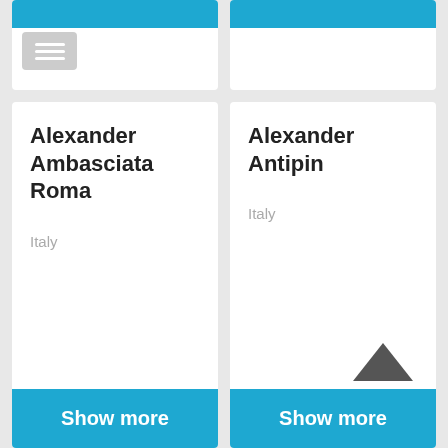[Figure (screenshot): Partial card top-left with blue bar and hamburger menu icon]
[Figure (screenshot): Partial card top-right with blue bar]
Alexander Ambasciata Roma
Italy
Show more
Alexander Antipin
Italy
Show more